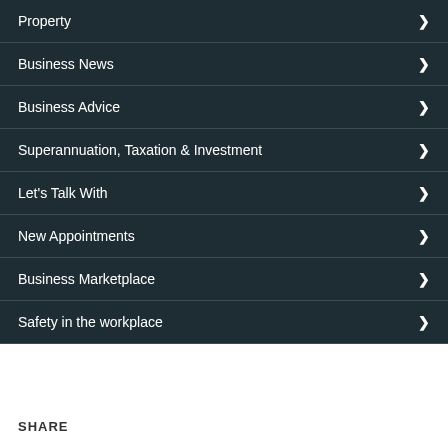Property
Business News
Business Advice
Superannuation, Taxation & Investment
Let's Talk With
New Appointments
Business Marketplace
Safety in the workplace
SHARE